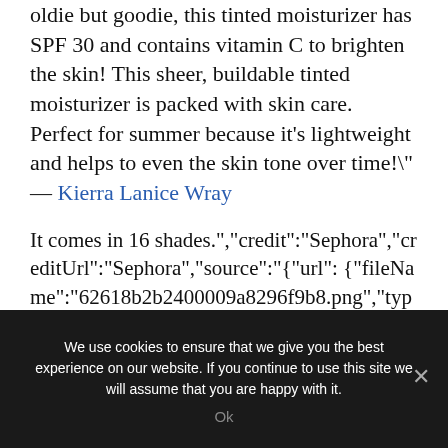oldie but goodie, this tinted moisturizer has SPF 30 and contains vitamin C to brighten the skin! This sheer, buildable tinted moisturizer is packed with skin care. Perfect for summer because it's lightweight and helps to even the skin tone over time!\" — Kierra Lanice Wray
It comes in 16 shades.","credit":"Sephora","creditUrl":"Sephora","source":"{"url": {"fileName":"62618b2b2400009a8296f9b8.png","type":"he oldie but goodie, this tinted moisturizer has SPF 30 and contains vitamin C to brighten the skin! This sheer, buildable tinted moisturizer is packed with skin
We use cookies to ensure that we give you the best experience on our website. If you continue to use this site we will assume that you are happy with it.
Ok